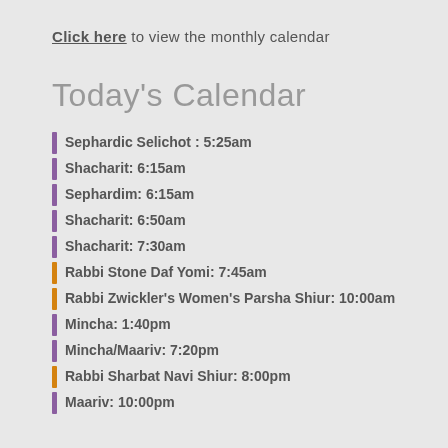Click here to view the monthly calendar
Today's Calendar
Sephardic Selichot : 5:25am
Shacharit: 6:15am
Sephardim: 6:15am
Shacharit: 6:50am
Shacharit: 7:30am
Rabbi Stone Daf Yomi: 7:45am
Rabbi Zwickler's Women's Parsha Shiur: 10:00am
Mincha: 1:40pm
Mincha/Maariv: 7:20pm
Rabbi Sharbat Navi Shiur: 8:00pm
Maariv: 10:00pm